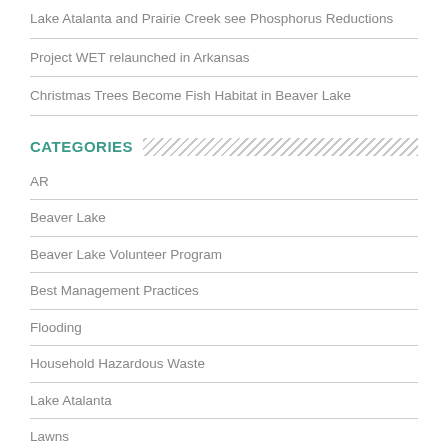Lake Atalanta and Prairie Creek see Phosphorus Reductions
Project WET relaunched in Arkansas
Christmas Trees Become Fish Habitat in Beaver Lake
CATEGORIES
AR
Beaver Lake
Beaver Lake Volunteer Program
Best Management Practices
Flooding
Household Hazardous Waste
Lake Atalanta
Lawns
Northwest Arkansas
Rainfall
Recreation